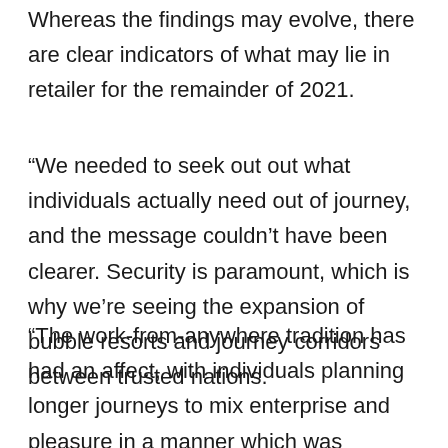Whereas the findings may evolve, there are clear indicators of what may lie in retailer for the remainder of 2021.
“We needed to seek out out what individuals actually need out of journey, and the message couldn’t have been clearer. Security is paramount, which is why we’re seeing the expansion of bubble resorts and journey corridors between trusted nations.
“The work-from-anywhere tradition has had an affect, with individuals planning longer journeys to mix enterprise and pleasure in a manner which was beforehand unimaginable. We’re additionally seeing travellers indulge extra to make absolutely the most of their journey.